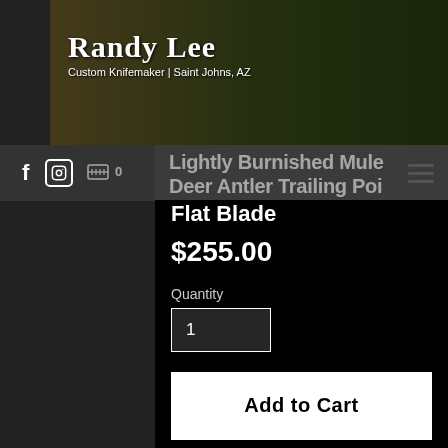Randy Lee Custom Knifemaker | Saint Johns, AZ
Lightly Burnished Mule Deer Antler Trailing Point Flat Blade
$255.00
Quantity
1
Add to Cart
Blade Length:  3 5/8 inches
Blade Width:  1 inch
Blade Thickness  1/16 inch